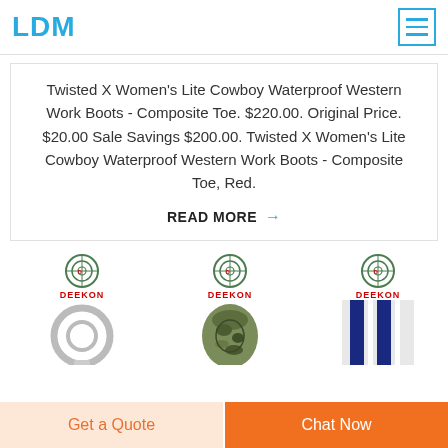LDM
Twisted X Women's Lite Cowboy Waterproof Western Work Boots - Composite Toe. $220.00. Original Price. $20.00 Sale Savings $200.00. Twisted X Women's Lite Cowboy Waterproof Western Work Boots - Composite Toe, Red.
READ MORE →
[Figure (photo): Three product listings each with a Deekon logo. First shows handcuffs/a metal ring, second shows a camouflage military bag/backpack, third shows blue and white vertical striped fabric/webbing.]
Get a Quote
Chat Now